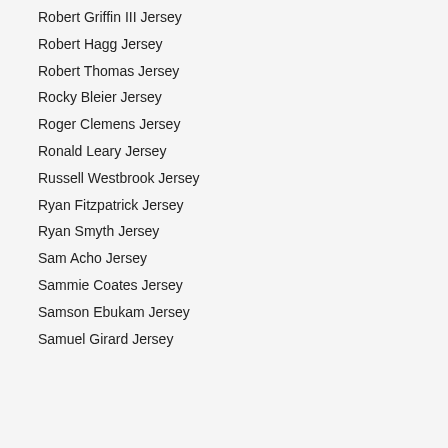Robert Griffin III Jersey
Robert Hagg Jersey
Robert Thomas Jersey
Rocky Bleier Jersey
Roger Clemens Jersey
Ronald Leary Jersey
Russell Westbrook Jersey
Ryan Fitzpatrick Jersey
Ryan Smyth Jersey
Sam Acho Jersey
Sammie Coates Jersey
Samson Ebukam Jersey
Samuel Girard Jersey